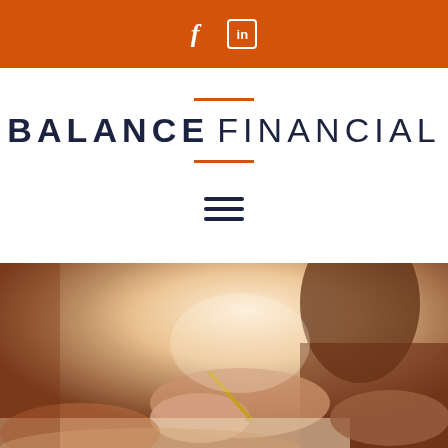Social media icons: Facebook, LinkedIn
[Figure (logo): Balance Financial logo with orange decorative lines above and below the text]
[Figure (infographic): Hamburger menu icon with three horizontal lines]
[Figure (photo): Photo of a person writing or signing a document at a desk, with warm orange/golden tones and a blurred background]